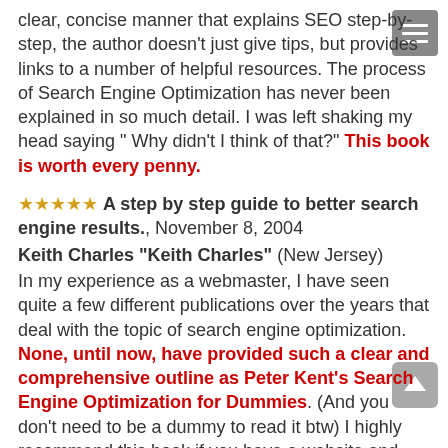clear, concise manner that explains SEO step-by-step, the author doesn't just give tips, but provides links to a number of helpful resources. The process of Search Engine Optimization has never been explained in so much detail. I was left shaking my head saying " Why didn't I think of that?" This book is worth every penny.
★★★★★ A step by step guide to better search engine results., November 8, 2004
Keith Charles "Keith Charles" (New Jersey)
In my experience as a webmaster, I have seen quite a few different publications over the years that deal with the topic of search engine optimization. None, until now, have provided such a clear and comprehensive outline as Peter Kent's Search Engine Optimization for Dummies. (And you don't need to be a dummy to read it btw) I highly recommend this book if you have a website and want to reach more viewers and or increase the overall effectiveness of your online efforts. Thank You Peter Kent for sharing your professional insights